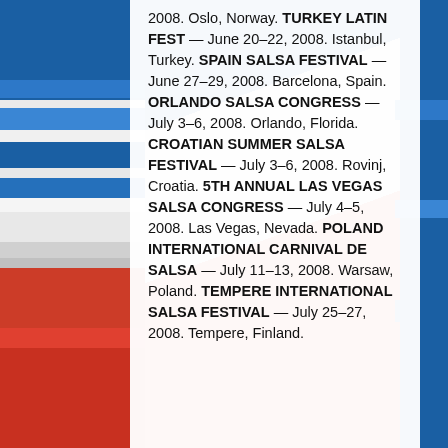[Figure (illustration): Background image showing stacked books or layers with blue, white, and red colors on the left side behind a white text panel.]
2008. Oslo, Norway. TURKEY LATIN FEST — June 20–22, 2008. Istanbul, Turkey. SPAIN SALSA FESTIVAL — June 27–29, 2008. Barcelona, Spain. ORLANDO SALSA CONGRESS — July 3–6, 2008. Orlando, Florida. CROATIAN SUMMER SALSA FESTIVAL — July 3–6, 2008. Rovinj, Croatia. 5TH ANNUAL LAS VEGAS SALSA CONGRESS — July 4–5, 2008. Las Vegas, Nevada. POLAND INTERNATIONAL CARNIVAL DE SALSA — July 11–13, 2008. Warsaw, Poland. TEMPERE INTERNATIONAL SALSA FESTIVAL — July 25–27, 2008. Tempere, Finland.